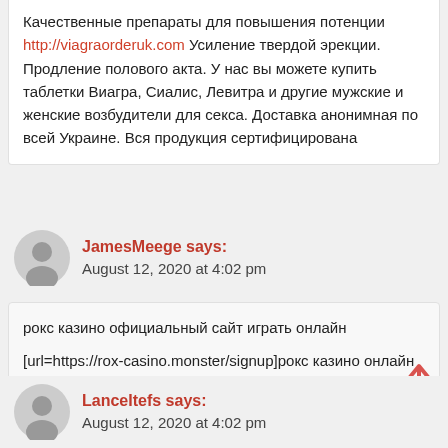Качественные препараты для повышения потенции http://viagraorderuk.com Усиление твердой эрекции. Продление полового акта. У нас вы можете купить таблетки Виагра, Сиалис, Левитра и другие мужские и женские возбудители для секса. Доставка анонимная по всей Украине. Вся продукция сертифицирована
JamesMeege says: August 12, 2020 at 4:02 pm
рокс казино официальный сайт играть онлайн

[url=https://rox-casino.monster/signup]рокс казино онлайн регистрация[/url]
[Figure (other): Up arrow navigation button in red/coral color]
LanceItefs says: August 12, 2020 at 4:02 pm